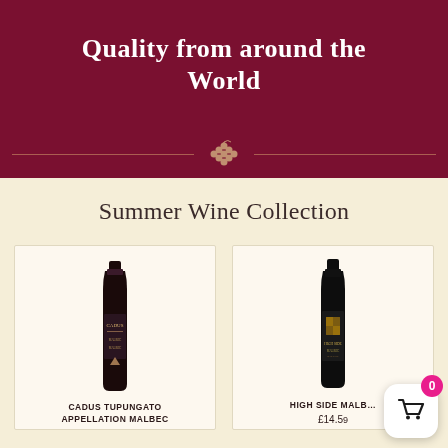Quality from around the World
Summer Wine Collection
[Figure (photo): Wine bottle - Cadus Tupungato Appellation Malbec, dark bottle with label]
CADUS TUPUNGATO APPELLATION MALBEC
[Figure (photo): Wine bottle - High Side Malbec, dark bottle with gold crest label]
HIGH SIDE MALBEC
£14.59